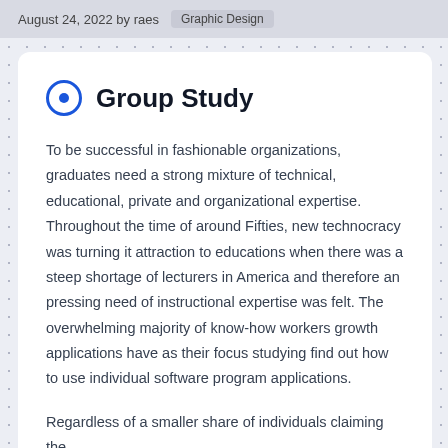August 24, 2022 by raes  Graphic Design
Group Study
To be successful in fashionable organizations, graduates need a strong mixture of technical, educational, private and organizational expertise. Throughout the time of around Fifties, new technocracy was turning it attraction to educations when there was a steep shortage of lecturers in America and therefore an pressing need of instructional expertise was felt. The overwhelming majority of know-how workers growth applications have as their focus studying find out how to use individual software program applications.
Regardless of a smaller share of individuals claiming the